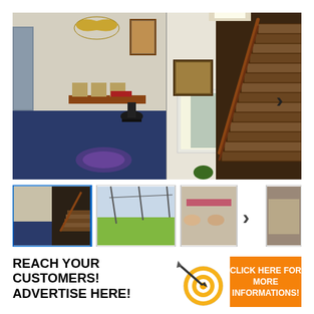[Figure (photo): Main large photo collage: left side shows a room interior with blue carpet, wooden chairs, a desk and office chair, fan decoration on wall; right side shows wooden staircase in a white-walled corridor with lights.]
[Figure (photo): Thumbnail row: first (active/selected) thumbnail showing room and staircase, second thumbnail showing a landscape/field, third thumbnail partially visible showing dining area, fourth partially visible thumbnail, with a right navigation arrow.]
REACH YOUR CUSTOMERS! ADVERTISE HERE!
[Figure (illustration): Target/bullseye icon with dart]
CLICK HERE FOR MORE INFORMATIONS!